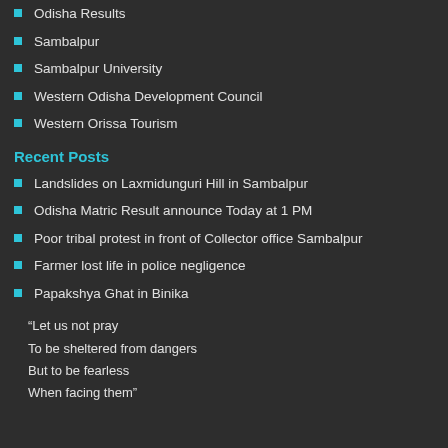Odisha Results
Sambalpur
Sambalpur University
Western Odisha Development Council
Western Orissa Tourism
Recent Posts
Landslides on Laxmidunguri Hill in Sambalpur
Odisha Matric Result announce Today at 1 PM
Poor tribal protest in front of Collector office Sambalpur
Farmer lost life in police negligence
Papakshya Ghat in Binika
“Let us not pray
To be sheltered from dangers
But to be fearless
When facing them”